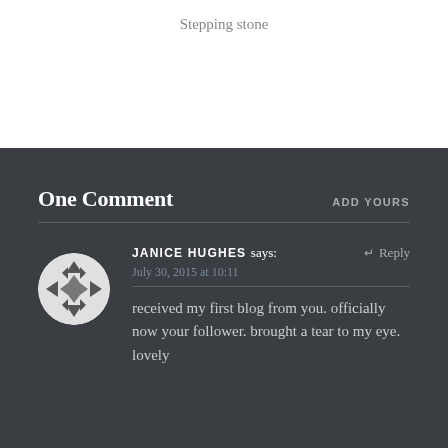Stepping stone
One Comment
ADD YOURS
JANICE HUGHES says: ↵ Reply
July 30, 2015 at 10:11
received my first blog from you. officially now your follower. brought a tear to my eye. lovely